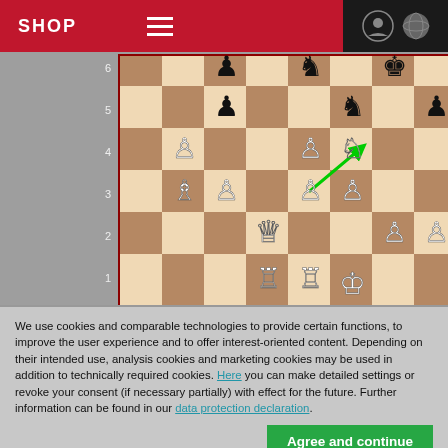SHOP
[Figure (screenshot): Chess board showing a mid-game position with white and black pieces. Row numbers 2-5 visible on left side. A green arrow indicates a move from approximately e3 to f4. White pieces include a bishop on c3, pawns on b3, d3, e3, f3, g2, h2, and a queen on e2, rooks on d1 and e1, and a knight on f4. Black pieces include pawns on c5, e5, h5, and a knight on f5, with pieces visible along the top edge.]
We use cookies and comparable technologies to provide certain functions, to improve the user experience and to offer interest-oriented content. Depending on their intended use, analysis cookies and marketing cookies may be used in addition to technically required cookies. Here you can make detailed settings or revoke your consent (if necessary partially) with effect for the future. Further information can be found in our data protection declaration.